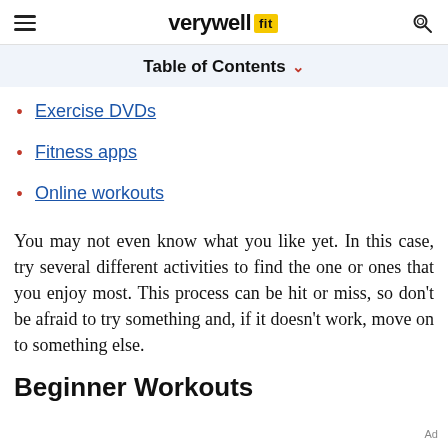verywell fit
Table of Contents
Exercise DVDs
Fitness apps
Online workouts
You may not even know what you like yet. In this case, try several different activities to find the one or ones that you enjoy most. This process can be hit or miss, so don't be afraid to try something and, if it doesn't work, move on to something else.
Beginner Workouts